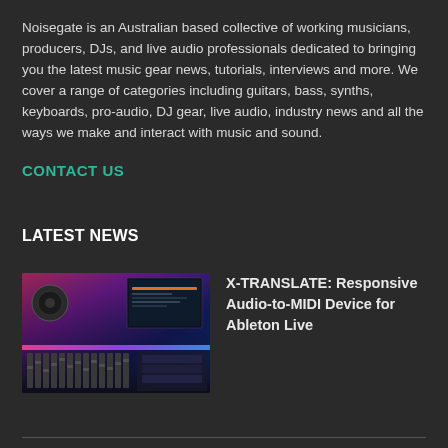Noisegate is an Australian based collective of working musicians, producers, DJs, and live audio professionals dedicated to bringing you the latest music gear news, tutorials, interviews and more. We cover a range of categories including guitars, bass, synths, keyboards, pro-audio, DJ gear, live audio, industry news and all the ways we make and interact with music and sound.
CONTACT US
LATEST NEWS
[Figure (photo): Photo of a recording studio mixing console and monitors with pink/purple lighting]
X-TRANSLATE: Responsive Audio-to-MIDI Device for Ableton Live